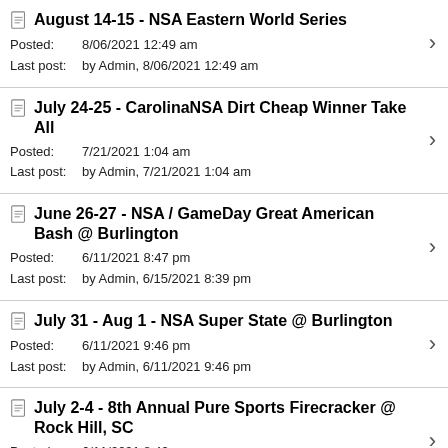August 14-15 - NSA Eastern World Series
Posted: 8/06/2021 12:49 am
Last post: by Admin, 8/06/2021 12:49 am
July 24-25 - CarolinaNSA Dirt Cheap Winner Take All
Posted: 7/21/2021 1:04 am
Last post: by Admin, 7/21/2021 1:04 am
June 26-27 - NSA / GameDay Great American Bash @ Burlington
Posted: 6/11/2021 8:47 pm
Last post: by Admin, 6/15/2021 8:39 pm
July 31 - Aug 1 - NSA Super State @ Burlington
Posted: 6/11/2021 9:46 pm
Last post: by Admin, 6/11/2021 9:46 pm
July 2-4 - 8th Annual Pure Sports Firecracker @ Rock Hill, SC
Posted: 6/11/2021 8:49 pm
Last post: by Admin, 6/11/2021 8:49 pm
June 12-13 - NSA Spring State at Burlington